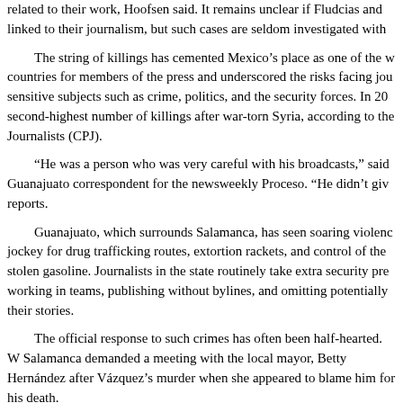related to their work, Hoofsen said. It remains unclear if Fludcias and linked to their journalism, but such cases are seldom investigated with
The string of killings has cemented Mexico's place as one of the w countries for members of the press and underscored the risks facing jou sensitive subjects such as crime, politics, and the security forces. In 20 second-highest number of killings after war-torn Syria, according to the Journalists (CPJ).
“He was a person who was very careful with his broadcasts,” said Guanajuato correspondent for the newsweekly Proceso. “He didn’t giv reports.
Guanajuato, which surrounds Salamanca, has seen soaring violenc jockey for drug trafficking routes, extortion rackets, and control of the stolen gasoline. Journalists in the state routinely take extra security pre working in teams, publishing without bylines, and omitting potentially their stories.
The official response to such crimes has often been half-hearted. W Salamanca demanded a meeting with the local mayor, Betty Hernández after Vázquez’s murder when she appeared to blame him for his death.
“The truth is, look, going at six or five in the morning to cover a st everyone knows is dangerous,” Hernández said in a video of the meeti journalists!” one person can be heard responding.